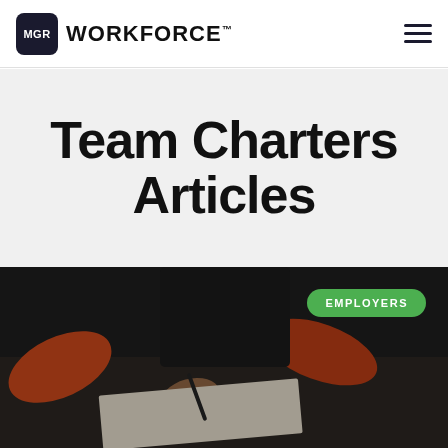MGR WORKFORCE
Team Charters Articles
[Figure (photo): People collaborating, writing on documents at a table, photographed from above at an angle. Dark, moody tones. An 'EMPLOYERS' green badge/label visible in upper right of the image.]